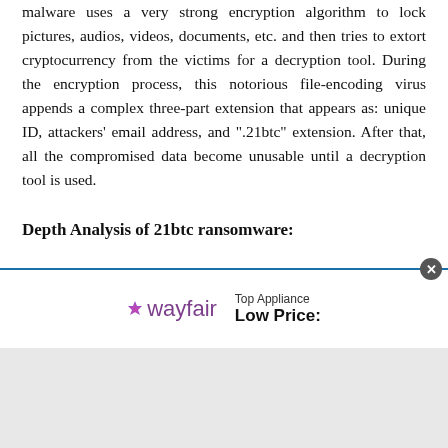malware uses a very strong encryption algorithm to lock pictures, audios, videos, documents, etc. and then tries to extort cryptocurrency from the victims for a decryption tool. During the encryption process, this notorious file-encoding virus appends a complex three-part extension that appears as: unique ID, attackers' email address, and ".21btc" extension. After that, all the compromised data become unusable until a decryption tool is used.
Depth Analysis of 21btc ransomware:
Similar to other crypto-parasites, 21btc ransomware
[Figure (other): Wayfair advertisement banner showing 'Top Appliance Low Price:' text with Wayfair logo and close button]